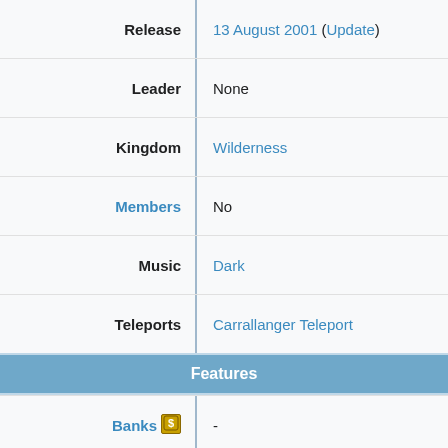| Label | Value |
| --- | --- |
| Release | 13 August 2001 (Update) |
| Leader | None |
| Kingdom | Wilderness |
| Members | No |
| Music | Dark |
| Teleports | Carrallanger Teleport |
Features
| Label | Value |
| --- | --- |
| Banks | - |
| Altars | - |
| Obelisks | - |
[Figure (map): Dark game map area showing a location in the Wilderness with geometric outlines visible on a dark brown textured background. Expand button in top-right corner.]